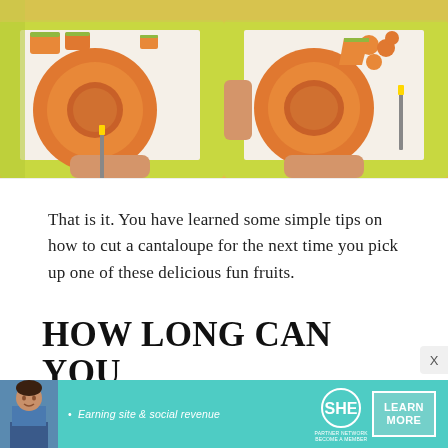[Figure (photo): Two side-by-side overhead photos of cantaloupe being cut on a cutting board. Left photo shows a hand scooping out seeds from a halved cantaloupe with a knife nearby and cantaloupe slices arranged around it. Right photo shows a similar scene with cantaloupe pieces arranged differently.]
That is it. You have learned some simple tips on how to cut a cantaloupe for the next time you pick up one of these delicious fun fruits.
HOW LONG CAN YOU KEEP CUT CANTALOUPE IN THE FRIDGE?
[Figure (photo): Advertisement banner for SHE Media Partner Network. Teal/turquoise background with a woman's photo on left, tagline 'Earning site & social revenue', SHE logo in circle, and LEARN MORE button on right.]